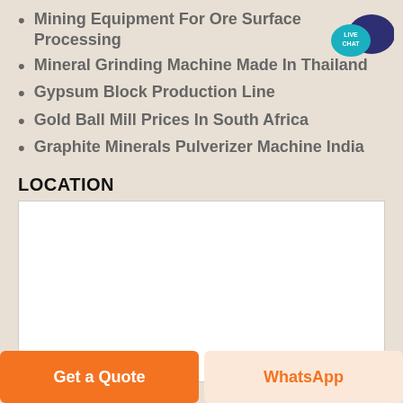Mining Equipment For Ore Surface Processing
Mineral Grinding Machine Made In Thailand
Gypsum Block Production Line
Gold Ball Mill Prices In South Africa
Graphite Minerals Pulverizer Machine India
[Figure (illustration): Live Chat badge with teal speech bubble and dark blue speech bubble icons, text 'LIVE CHAT' in white]
LOCATION
[Figure (map): White rectangular map placeholder area]
Get a Quote
WhatsApp